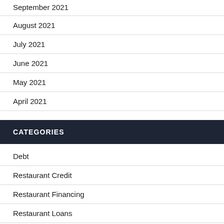September 2021
August 2021
July 2021
June 2021
May 2021
April 2021
CATEGORIES
Debt
Restaurant Credit
Restaurant Financing
Restaurant Loans
Restaurants Covid